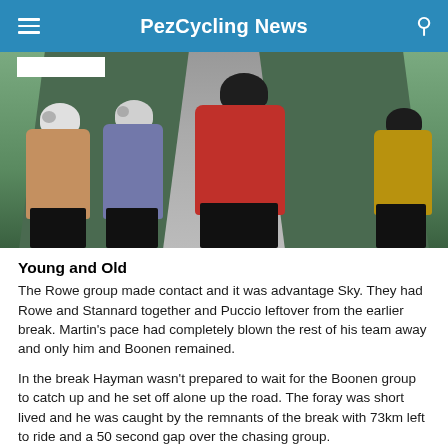PezCycling News
[Figure (photo): Four cyclists viewed from behind riding on a road, wearing helmets and colorful jerseys (beige/brown, blue/purple, red, mustard yellow). Trees visible on roadside.]
Young and Old
The Rowe group made contact and it was advantage Sky. They had Rowe and Stannard together and Puccio leftover from the earlier break. Martin's pace had completely blown the rest of his team away and only him and Boonen remained.
In the break Hayman wasn't prepared to wait for the Boonen group to catch up and he set off alone up the road. The foray was short lived and he was caught by the remnants of the break with 73km left to ride and a 50 second gap over the chasing group.